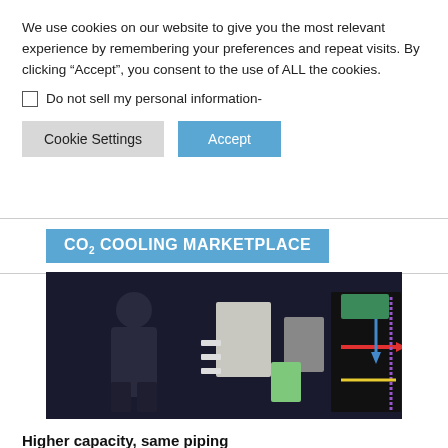We use cookies on our website to give you the most relevant experience by remembering your preferences and repeat visits. By clicking “Accept”, you consent to the use of ALL the cookies.
Do not sell my personal information-
Cookie Settings | Accept
CO₂ COOLING MARKETPLACE
[Figure (photo): A person standing next to refrigeration equipment with piping diagrams visible on a black display board. The display shows colored arrows indicating refrigerant flow paths.]
Higher capacity, same piping
Increasing the refrigeration capacity of the gas itself